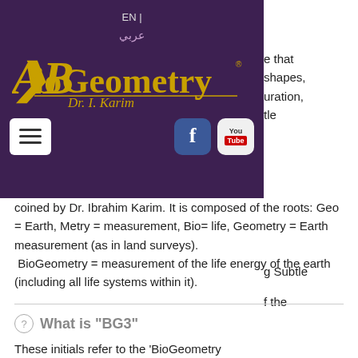[Figure (screenshot): BioGeometry website navigation overlay with purple background, showing EN/Arabic language toggle, BioGeometry logo with Dr. I. Karim signature, hamburger menu button, Facebook and YouTube social icons]
e that shapes, uration, tle
g Subtle f the
coined by Dr. Ibrahim Karim. It is composed of the roots: Geo = Earth, Metry = measurement, Bio= life, Geometry = Earth measurement (as in land surveys).
 BioGeometry = measurement of the life energy of the earth (including all life systems within it).
What is "BG3"
These initials refer to the 'BioGeometry